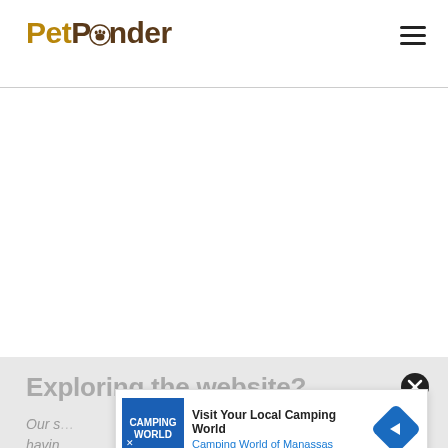PetPonder
[Figure (other): Large blank white advertisement area in the center of the page]
Exploring the website?
Our s... having... on
[Figure (other): Popup ad banner: Visit Your Local Camping World - Camping World of Manassas, with blue logo, play button, close button, and blue diamond arrow icon]